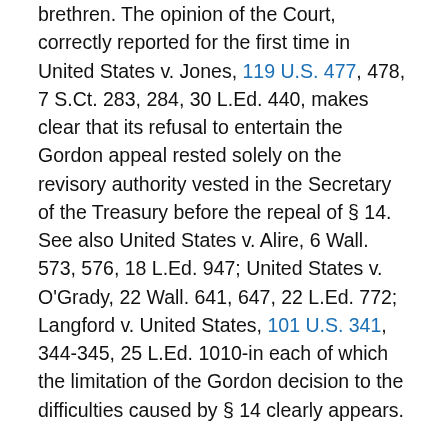brethren. The opinion of the Court, correctly reported for the first time in United States v. Jones, 119 U.S. 477, 478, 7 S.Ct. 283, 284, 30 L.Ed. 440, makes clear that its refusal to entertain the Gordon appeal rested solely on the revisory authority vested in the Secretary of the Treasury before the repeal of § 14. See also United States v. Alire, 6 Wall. 573, 576, 18 L.Ed. 947; United States v. O'Grady, 22 Wall. 641, 647, 22 L.Ed. 772; Langford v. United States, 101 U.S. 341, 344-345, 25 L.Ed. 1010-in each of which the limitation of the Gordon decision to the difficulties caused by § 14 clearly appears.
Nevertheless the problem remains and should be considered. Its scope has, However, been reduced by the Act of July 27, 1956, § 1302, 70 Stat. 678, 694, 31 U.S.C. § 724a, 31 U.S.C.A. § 724a, a general appropriation act which eliminates the need for subsequent separate appropriations to pay judgments below $100,000. A